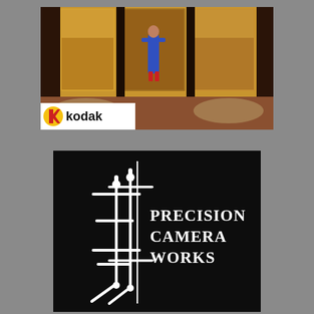[Figure (photo): Kodak advertisement showing a person in blue coveralls standing in front of large architectural panels/doors. A Kodak logo with yellow K emblem and the word 'kodak' in bold text appears in the lower left of the image on a white bar.]
[Figure (logo): Precision Camera Works logo on black background. Features white stylized camera equipment/tripod illustration on the left and 'PRECISION CAMERA WORKS' text in white serif font on the right.]